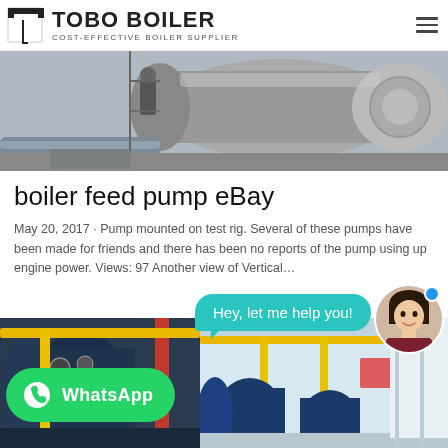TOBO BOILER — COST-EFFECTIVE BOILER SUPPLIER
[Figure (photo): Worker servicing a large industrial boiler on a construction site, with pipes and metal scaffolding visible]
boiler feed pump eBay
May 20, 2017 · Pump mounted on test rig. Several of these pumps have been made for friends and there has been no reports of the pump using up engine power. Views: 97 Another view of Vertical…
[Figure (screenshot): Chat widget overlay with 'Hey, let me help you!' bubble and avatar, WhatsApp button, and industrial boiler showroom photos below]